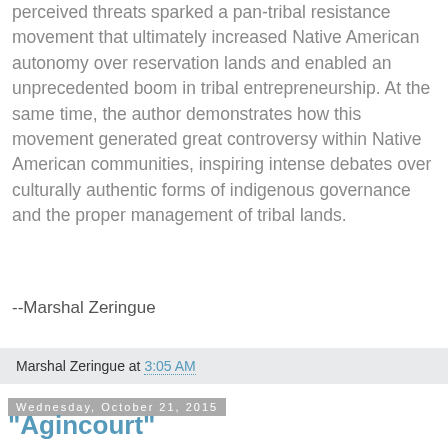perceived threats sparked a pan-tribal resistance movement that ultimately increased Native American autonomy over reservation lands and enabled an unprecedented boom in tribal entrepreneurship. At the same time, the author demonstrates how this movement generated great controversy within Native American communities, inspiring intense debates over culturally authentic forms of indigenous governance and the proper management of tribal lands.
--Marshal Zeringue
Marshal Zeringue at 3:05 AM
Wednesday, October 21, 2015
"Agincourt"
New from Oxford University Press: Agincourt (Great Battles Series) by Anne Curry.